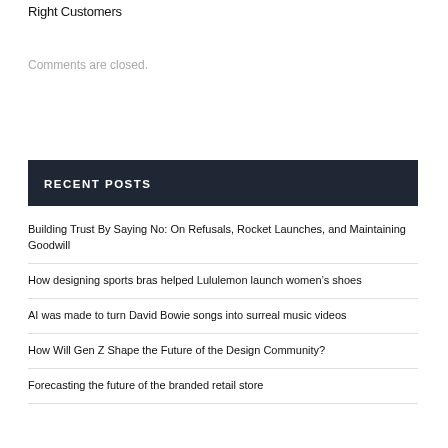Right Customers
Comments are closed.
RECENT POSTS
Building Trust By Saying No: On Refusals, Rocket Launches, and Maintaining Goodwill
How designing sports bras helped Lululemon launch women’s shoes
AI was made to turn David Bowie songs into surreal music videos
How Will Gen Z Shape the Future of the Design Community?
Forecasting the future of the branded retail store